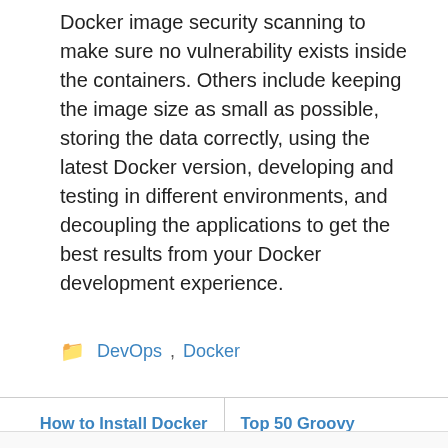Docker image security scanning to make sure no vulnerability exists inside the containers. Others include keeping the image size as small as possible, storing the data correctly, using the latest Docker version, developing and testing in different environments, and decoupling the applications to get the best results from your Docker development experience.
Categories: DevOps, Docker
How to Install Docker Compose on Ubuntu 20.04 LTS [Step By Step]
Top 50 Groovy Interview Questions and Answers in 2022